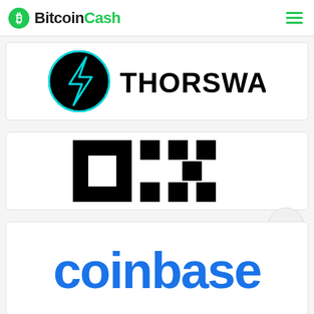BitcoinCash
[Figure (logo): ThorSwap logo — black circle with cyan lightning bolt symbol on the left, bold black text THORSWAP on the right]
[Figure (logo): OKX logo — black pixel/square pattern spelling OKX in a blocky grid style]
[Figure (logo): Coinbase logo — blue lowercase text 'coinbase']